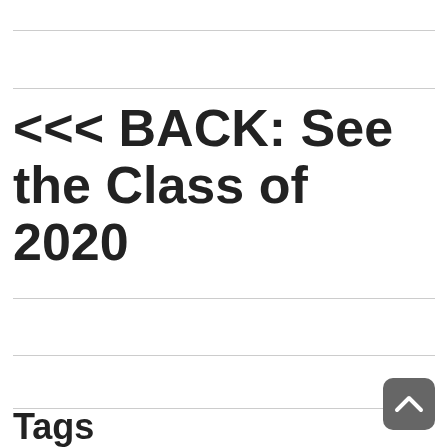<<< BACK: See the Class of 2020
Tags